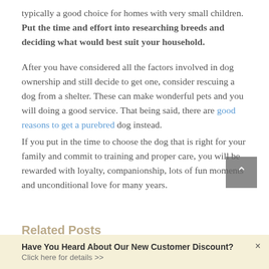typically a good choice for homes with very small children. Put the time and effort into researching breeds and deciding what would best suit your household.
After you have considered all the factors involved in dog ownership and still decide to get one, consider rescuing a dog from a shelter. These can make wonderful pets and you will doing a good service. That being said, there are good reasons to get a purebred dog instead.
If you put in the time to choose the dog that is right for your family and commit to training and proper care, you will be rewarded with loyalty, companionship, lots of fun moments and unconditional love for many years.
Related Posts
Have You Heard About Our New Customer Discount? Click here for details >>